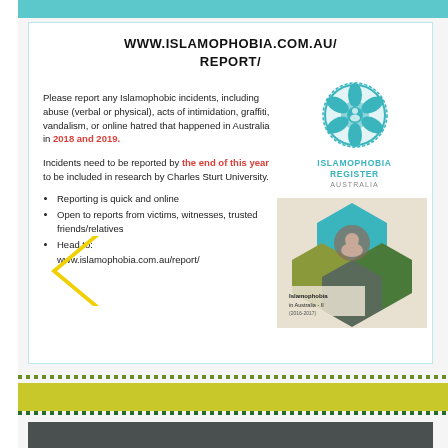WWW.ISLAMOPHOBIA.COM.AU/REPORT/
Please report any Islamophobic incidents, including abuse (verbal or physical), acts of intimidation, graffiti, vandalism, or online hatred that happened in Australia in 2018 and 2019.
Incidents need to be reported by the end of this year to be included in research by Charles Sturt University.
Reporting is quick and online
Open to reports from victims, witnesses, trusted friends/relatives
Head to: www.islamophobia.com.au/report/
[Figure (logo): Islamophobia Register Australia logo - teal circular snowflake/mandala design with text ISLAMOPHOBIA REGISTER AUSTRALIA]
[Figure (illustration): Islamophobia in Australia II (2016-2017) book cover with hexagonal geometric design]